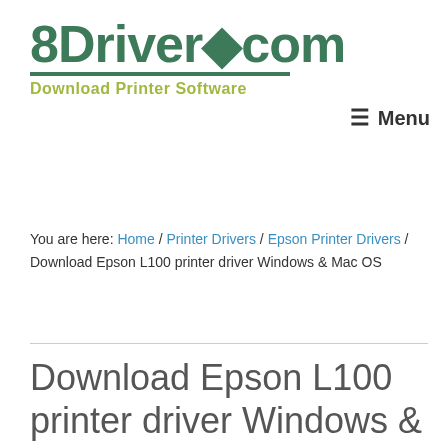8Driver.com — Download Printer Software
Menu
You are here: Home / Printer Drivers / Epson Printer Drivers / Download Epson L100 printer driver Windows & Mac OS
Download Epson L100 printer driver Windows & Mac OS